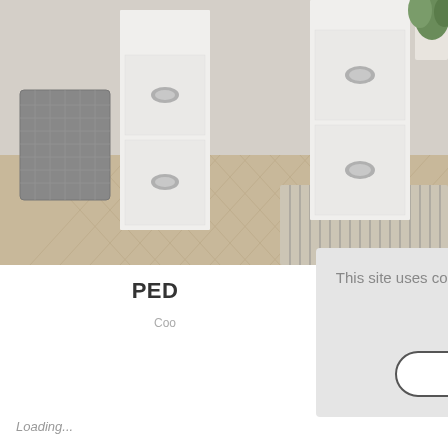[Figure (photo): Photo of white furniture pieces (pedestals/drawers with chrome cup handles) on a herringbone wood-effect floor with a striped rug and a woven grey basket on the left side.]
PED
Coo
This site uses cookies to provide and improve your shopping experience. If you want to benefit from this improved service, please opt-in. Cookies Page.
I opt-in to a better browsing experience
ACCEPT COOKIES
Loading...